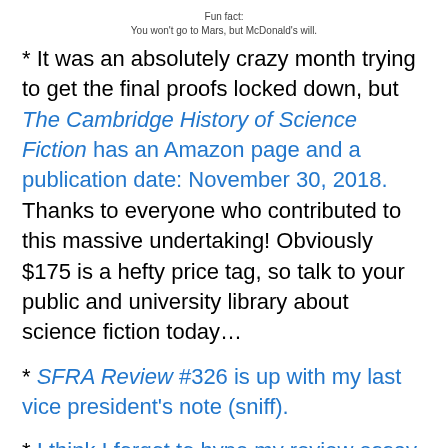Fun fact:
You won't go to Mars, but McDonald's will.
* It was an absolutely crazy month trying to get the final proofs locked down, but The Cambridge History of Science Fiction has an Amazon page and a publication date: November 30, 2018. Thanks to everyone who contributed to this massive undertaking! Obviously $175 is a hefty price tag, so talk to your public and university library about science fiction today…
* SFRA Review #326 is up with my last vice president's note (sniff).
* I think I forgot to hype my review essay in the latest Science Fiction Film and Television on Arrival and parenting. Consider it hyped!